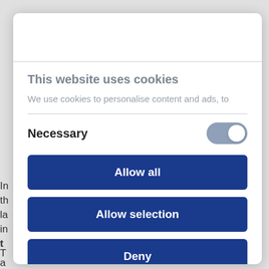In this website uses cookies dialog: background partial text visible on left edge
This website uses cookies
We use cookies to personalise content and ads, to
Necessary
[Figure (other): Toggle switch in ON position with grey/blue background]
Allow all
Allow selection
Deny
Powered by Cookiebot by Usercentrics